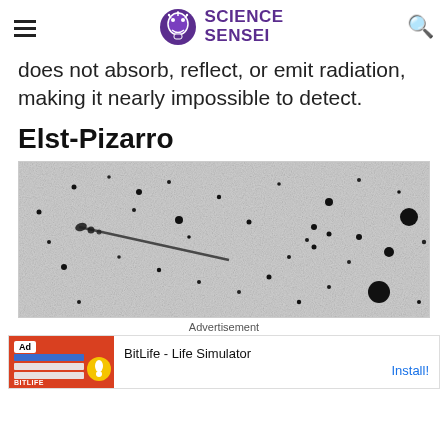Science Sensei
does not absorb, reflect, or emit radiation, making it nearly impossible to detect.
Elst-Pizarro
[Figure (photo): Black and white astronomical photograph showing stars and a streak/trail of an object (Elst-Pizarro) moving across the field of view, with a prominent diagonal trail from upper-left to center-right.]
Advertisement
[Figure (screenshot): Mobile advertisement banner for BitLife - Life Simulator app with orange/red background on the left showing 'Ad' badge and app screenshots, and white background on the right with app name and Install button.]